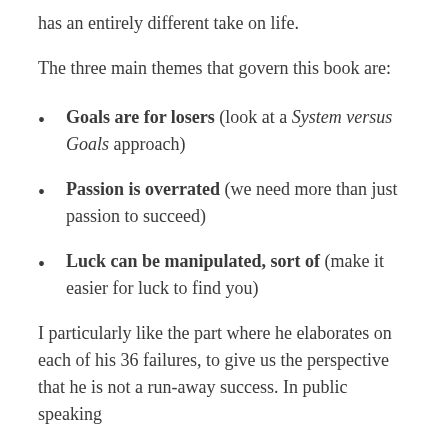has an entirely different take on life.
The three main themes that govern this book are:
Goals are for losers (look at a System versus Goals approach)
Passion is overrated (we need more than just passion to succeed)
Luck can be manipulated, sort of (make it easier for luck to find you)
I particularly like the part where he elaborates on each of his 36 failures, to give us the perspective that he is not a run-away success. In public speaking